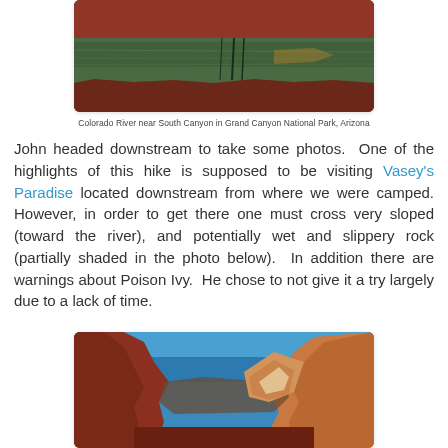[Figure (photo): Colorado River reflecting red canyon walls and sky, with rocky shoreline. Grand Canyon National Park, Arizona.]
Colorado River near South Canyon in Grand Canyon National Park, Arizona
John headed downstream to take some photos.  One of the highlights of this hike is supposed to be visiting Vasey's Paradise located downstream from where we were camped.  However, in order to get there one must cross very sloped (toward the river), and potentially wet and slippery rock (partially shaded in the photo below).  In addition there are warnings about Poison Ivy.  He chose to not give it a try largely due to a lack of time.
[Figure (photo): Canyon rock walls with blue sky above, showing red and orange sandstone formations. Grand Canyon National Park.]